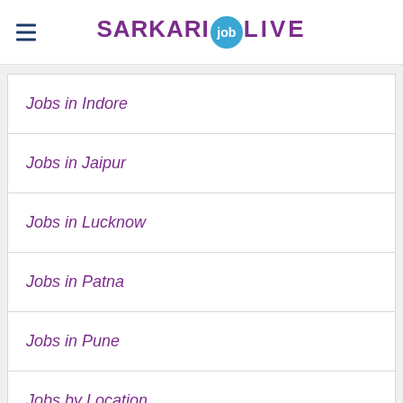SARKARI job LIVE
Jobs in Indore
Jobs in Jaipur
Jobs in Lucknow
Jobs in Patna
Jobs in Pune
Jobs by Location
Jobs By Education